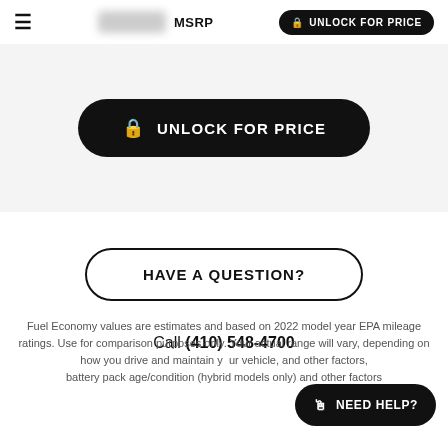≡  [BLURRED LOGO]  MSRP  🔒 UNLOCK FOR PRICE
🔒 UNLOCK FOR PRICE
HAVE A QUESTION?
Call (410) 548-4700
Fuel Economy values are estimates and based on 2022 model year EPA mileage ratings. Use for comparison purposes only. Your actual range will vary, depending on how you drive and maintain your vehicle, and other factors, battery pack age/condition (hybrid models only) and other factors
🗨 NEED HELP?